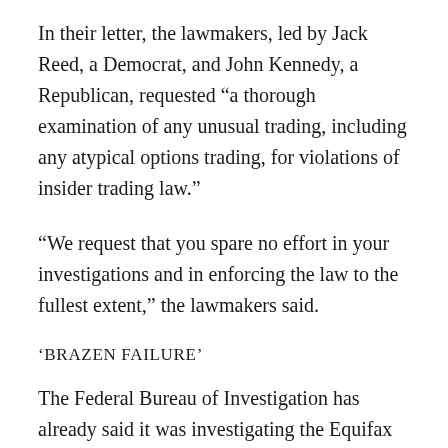In their letter, the lawmakers, led by Jack Reed, a Democrat, and John Kennedy, a Republican, requested “a thorough examination of any unusual trading, including any atypical options trading, for violations of insider trading law.”
“We request that you spare no effort in your investigations and in enforcing the law to the fullest extent,” the lawmakers said.
‘BRAZEN FAILURE’
The Federal Bureau of Investigation has already said it was investigating the Equifax hack. A spokesman for SEC Chairman Jay Clayton declined to comment.